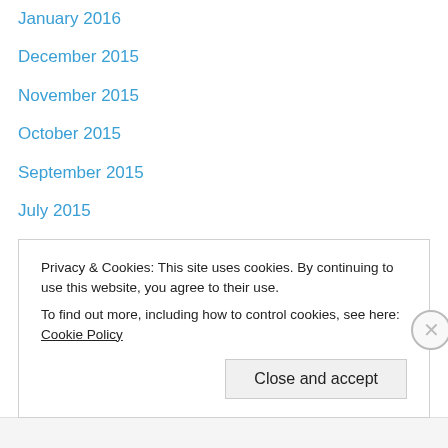January 2016
December 2015
November 2015
October 2015
September 2015
July 2015
June 2015
May 2015
April 2015
March 2015
February 2015
January 2015
December 2014
November 2014
Privacy & Cookies: This site uses cookies. By continuing to use this website, you agree to their use.
To find out more, including how to control cookies, see here: Cookie Policy